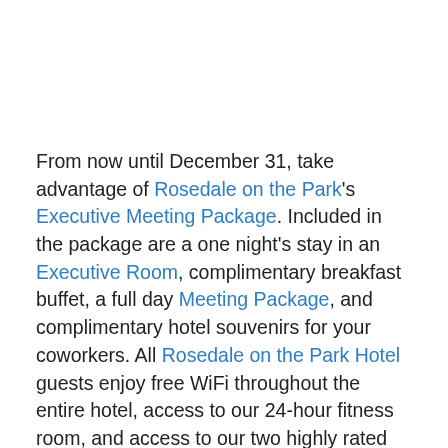From now until December 31, take advantage of Rosedale on the Park's Executive Meeting Package. Included in the package are a one night's stay in an Executive Room, complimentary breakfast buffet, a full day Meeting Package, and complimentary hotel souvenirs for your coworkers. All Rosedale on the Park Hotel guests enjoy free WiFi throughout the entire hotel, access to our 24-hour fitness room, and access to our two highly rated restaurants – Cheena and Skyzone Restaurant and Lounge. All of our rooms are modernly decorated and stocked with coffee and tea making facilities, minibars, and